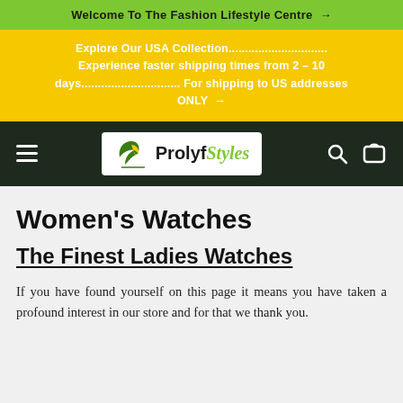Welcome To The Fashion Lifestyle Centre →
Explore Our USA Collection..............................Experience faster shipping times from 2 – 10 days..............................For shipping to US addresses ONLY →
[Figure (logo): ProlyfStyles logo with green leaf icon and text 'Prolyfstyles' in black and green]
Women's Watches
The Finest Ladies Watches
If you have found yourself on this page it means you have taken a profound interest in our store and for that we thank you.